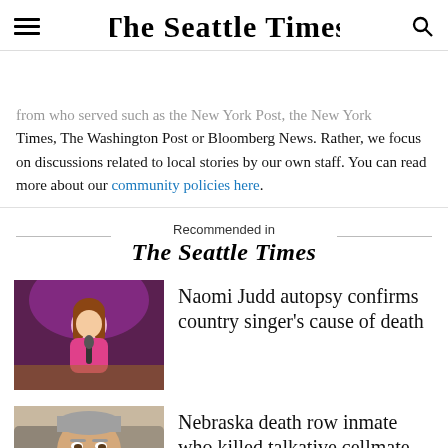The Seattle Times
from who served such as the New York Post, the New York Times, The Washington Post or Bloomberg News. Rather, we focus on discussions related to local stories by our own staff. You can read more about our community policies here.
Recommended in The Seattle Times
[Figure (photo): Photo of Naomi Judd performing on stage in a pink satin outfit, holding a microphone, with purple stage lighting behind her.]
Naomi Judd autopsy confirms country singer's cause of death
[Figure (photo): Close-up photo of a man with short hair and beard, with other figures visible behind him in a serious setting.]
Nebraska death row inmate who killed talkative cellmate dies